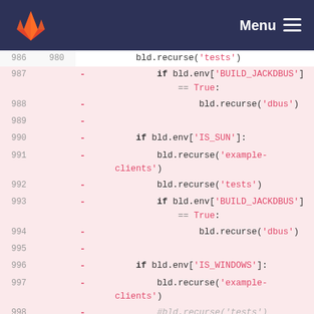GitLab — Menu
[Figure (screenshot): Code diff view showing lines 986-999/980-983 of a build script with additions and deletions]
986 980   bld.recurse('tests')
987     - if bld.env['BUILD_JACKDBUS'] == True:
988     -             bld.recurse('dbus')
989     -
990     -     if bld.env['IS_SUN']:
991     -         bld.recurse('example-clients')
992     -         bld.recurse('tests')
993     -         if bld.env['BUILD_JACKDBUS'] == True:
994     -                 bld.recurse('dbus')
995     -
996     -     if bld.env['IS_WINDOWS']:
997     -         bld.recurse('example-clients')
998     -         #bld.recurse('tests')
    981 +     if bld.env['BUILD_JACKDBUS']:
    982 +         bld.recurse('dbus')
999 983